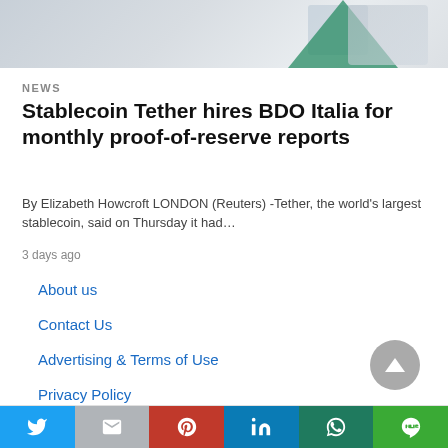[Figure (photo): Hero image showing a green envelope/mail icon on a tablet or phone screen, partially visible at the top of the page]
NEWS
Stablecoin Tether hires BDO Italia for monthly proof-of-reserve reports
By Elizabeth Howcroft LONDON (Reuters) -Tether, the world's largest stablecoin, said on Thursday it had…
3 days ago
About us
Contact Us
Advertising & Terms of Use
Privacy Policy